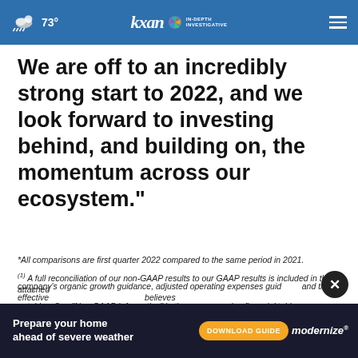73° KXAN IN-DEPTH INVESTIGATIVE
We are off to an incredibly strong start to 2022, and we look forward to investing behind, and building on, the momentum across our ecosystem."
*All comparisons are first quarter 2022 compared to the same period in 2021.
(1) A full reconciliation of our non-GAAP results to our GAAP results is included in the attached tables. See "Non-GAAP Information" in the accompanying financial tables.
(2) Specific quantifications of the amounts that would be required to reconcile the company's organic growth guidance, adjusted operating expenses guidance and the effective... believes